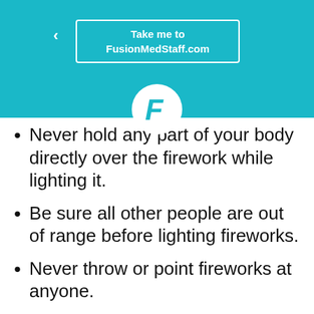Take me to FusionMedStaff.com
[Figure (logo): Fusion Med Staff logo — white circle with teal stylized letter F]
Never hold any part of your body directly over the firework while lighting it.
Be sure all other people are out of range before lighting fireworks.
Never throw or point fireworks at anyone.
Never light fireworks in a container, especially a metal or glass container.
Never light fireworks near a house or building, dry leaves or grass, or any